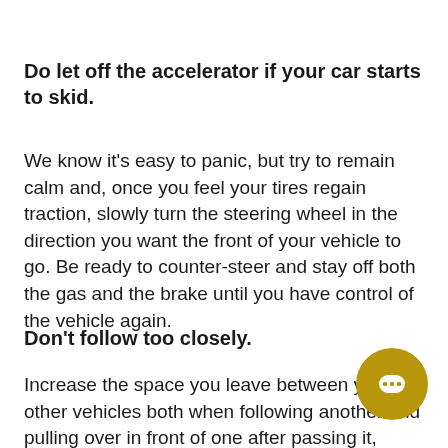Do let off the accelerator if your car starts to skid.
We know it's easy to panic, but try to remain calm and, once you feel your tires regain traction, slowly turn the steering wheel in the direction you want the front of your vehicle to go. Be ready to counter-steer and stay off both the gas and the brake until you have control of the vehicle again.
Don't follow too closely.
Increase the space you leave between you and other vehicles both when following another and pulling over in front of one after passing it, particularly snowplows or large trucks. You also